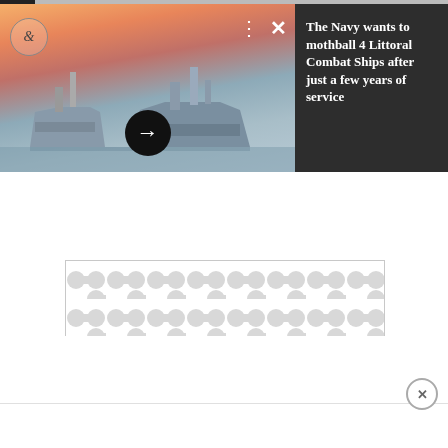[Figure (screenshot): A news card UI element. Left side shows a photo of naval Littoral Combat Ships at a port at sunset/dusk with orange and blue sky. There is a circular logo with ampersand in top-left, three dots and X control icons top-right, and a black circular arrow button in the lower center. Right side has a dark charcoal background with white bold headline text.]
The Navy wants to mothball 4 Littoral Combat Ships after just a few years of service
[Figure (other): Advertisement placeholder area with a repeating gray circular/dumbbell pattern on white background, outlined with a thin gray border.]